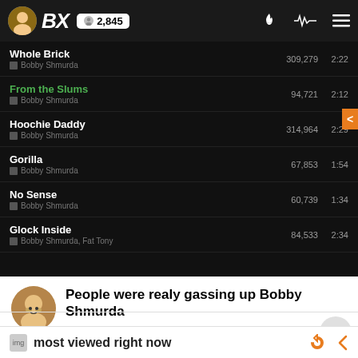BX | 2,845
Whole Brick | Bobby Shmurda | 309,279 | 2:22
From the Slums | Bobby Shmurda | 94,721 | 2:12
Hoochie Daddy | Bobby Shmurda | 314,964 | 2:29
Gorilla | Bobby Shmurda | 67,853 | 1:54
No Sense | Bobby Shmurda | 60,739 | 1:34
Glock Inside | Bobby Shmurda, Fat Tony | 84,533 | 2:34
People were realy gassing up Bobby Shmurda
@hiphop | 19 replies | 26 min ago
7 | by uoeno | 14 hr
most viewed right now